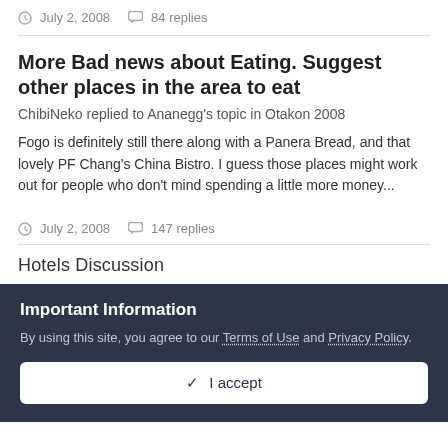July 2, 2008   84 replies
More Bad news about Eating. Suggest other places in the area to eat
ChibiNeko replied to Ananegg's topic in Otakon 2008
Fogo is definitely still there along with a Panera Bread, and that lovely PF Chang's China Bistro. I guess those places might work out for people who don't mind spending a little more money...
July 2, 2008   147 replies
Hotels Discussion
Important Information
By using this site, you agree to our Terms of Use and Privacy Policy.
✓  I accept